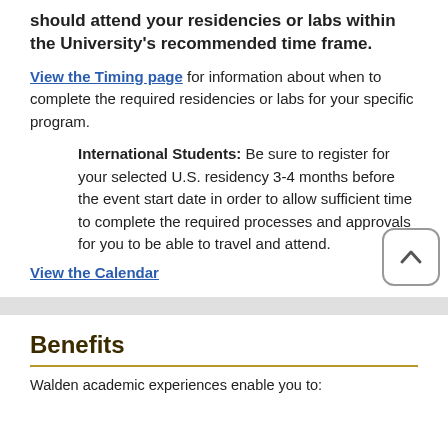should attend your residencies or labs within the University's recommended time frame.
View the Timing page for information about when to complete the required residencies or labs for your specific program.
International Students: Be sure to register for your selected U.S. residency 3-4 months before the event start date in order to allow sufficient time to complete the required processes and approvals for you to be able to travel and attend.
View the Calendar
Benefits
Walden academic experiences enable you to: